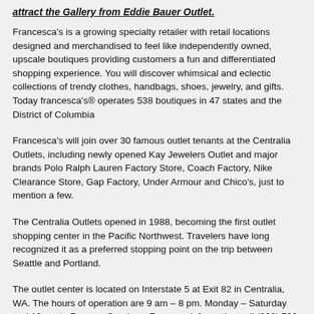attract the Gallery from Eddie Bauer Outlet.
Francesca's is a growing specialty retailer with retail locations designed and merchandised to feel like independently owned, upscale boutiques providing customers a fun and differentiated shopping experience. You will discover whimsical and eclectic collections of trendy clothes, handbags, shoes, jewelry, and gifts. Today francesca's® operates 538 boutiques in 47 states and the District of Columbia
Francesca's will join over 30 famous outlet tenants at the Centralia Outlets, including newly opened Kay Jewelers Outlet and major brands Polo Ralph Lauren Factory Store, Coach Factory, Nike Clearance Store, Gap Factory, Under Armour and Chico's, just to mention a few.
The Centralia Outlets opened in 1988, becoming the first outlet shopping center in the Pacific Northwest. Travelers have long recognized it as a preferred stopping point on the trip between Seattle and Portland.
The outlet center is located on Interstate 5 at Exit 82 in Centralia, WA. The hours of operation are 9 am – 8 pm. Monday – Saturday and 10 am to 7 pm on Sundays. For more information call (360) 736-3327, visit www.centraliaoutlets.com.